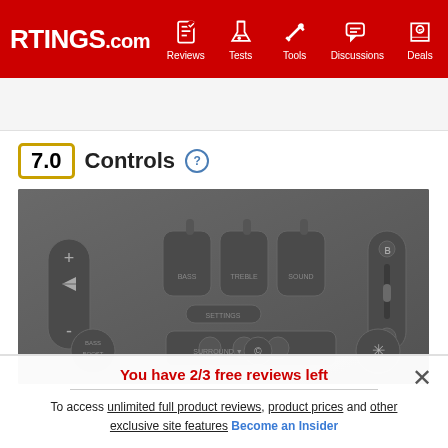RTINGS.com — Reviews, Tests, Tools, Discussions, Deals
7.0 Controls
[Figure (photo): Close-up photograph of a soundbar or speaker control panel showing various buttons including volume, input selection, and power controls on a dark gray surface.]
You have 2/3 free reviews left
To access unlimited full product reviews, product prices and other exclusive site features Become an Insider